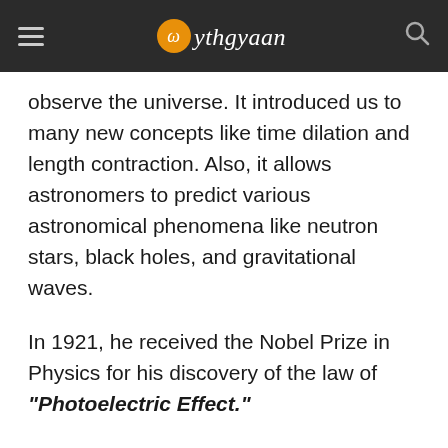Mythgyaan
observe the universe. It introduced us to many new concepts like time dilation and length contraction. Also, it allows astronomers to predict various astronomical phenomena like neutron stars, black holes, and gravitational waves.
In 1921, he received the Nobel Prize in Physics for his discovery of the law of "Photoelectric Effect."
Soon he became the talk of the town, and he becomes probably one of the most famous physicists of all time. People were so fascinated by his discoveries that his brain becomes a subject of research and speculation.